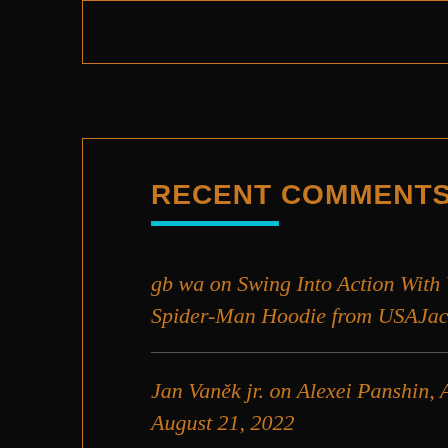RECENT COMMENTS
gb wa on Swing Into Action With Your Very Own Spider-Man Hoodie from USAJacket
Jan Vaněk jr. on Alexei Panshin, August 14, 1940 — August 21, 2022
Sue Granquist on Goth Chick News Interviews: Stephen Tramontana, Writer/Director of Killer Piñata and Bride of the